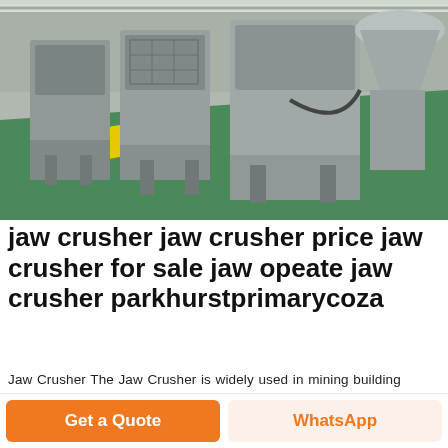[Figure (photo): Industrial factory floor with large gray jaw crusher machines lined up in a row. Green painted floor with a yellow stripe. High ceiling warehouse setting.]
jaw crusher jaw crusher price jaw crusher for sale jaw opeate jaw crusher parkhurstprimarycoza
Jaw Crusher The Jaw Crusher is widely used in mining building materials chemical industry metallurgy and so on It is suitable for primary and secondary crushing of all kinds of minerals and rocks with compressive strength less than 320 MPaIndustry News Opeate Jaw Crusher This was a request by one of our
Get a Quote
WhatsApp